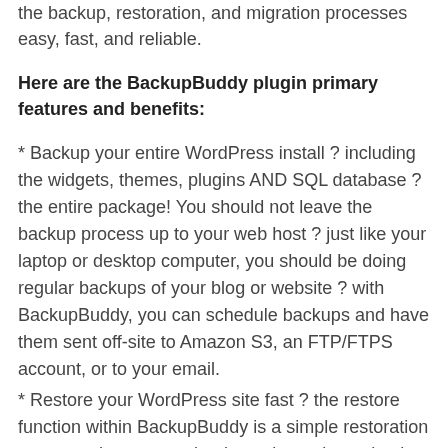the backup, restoration, and migration processes easy, fast, and reliable.
Here are the BackupBuddy plugin primary features and benefits:
* Backup your entire WordPress install ? including the widgets, themes, plugins AND SQL database ? the entire package! You should not leave the backup process up to your web host ? just like your laptop or desktop computer, you should be doing regular backups of your blog or website ? with BackupBuddy, you can schedule backups and have them sent off-site to Amazon S3, an FTP/FTPS account, or to your email.
* Restore your WordPress site fast ? the restore function within BackupBuddy is a simple restoration process where you upload a script and your backup files and it restores WordPress, your themes, widgets, plugins, and everything else.